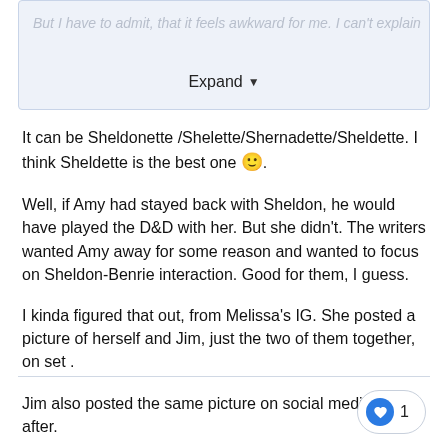[Figure (screenshot): Collapsed text box with 'Expand' button and dropdown arrow, on light blue background]
It can be Sheldonette /Shelette/Shernadette/Sheldette. I think Sheldette is the best one 🙂.
Well, if Amy had stayed back with Sheldon, he would have played the D&D with her. But she didn't. The writers wanted Amy away for some reason and wanted to focus on Sheldon-Benrie interaction. Good for them, I guess.
I kinda figured that out, from Melissa's IG. She posted a picture of herself and Jim, just the two of them together, on set .
Jim also posted the same picture on social media, soon after.
Edited April 6, 2016 by Serena_nyc1995
[Figure (other): Like/heart button with count of 1]